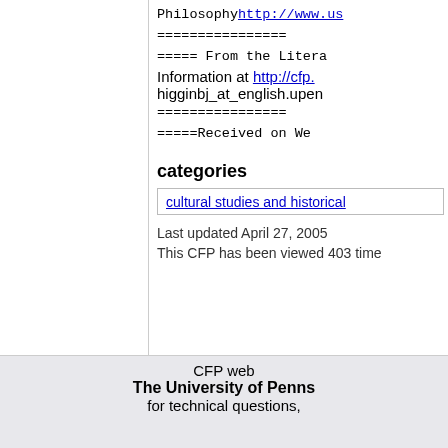Philosophyhttp://www.us...
==================
===== From the Literary... Information at http://cfp. higginbj_at_english.upen...
==================
=====Received on We...
categories
cultural studies and historical...
Last updated April 27, 2005
This CFP has been viewed 403 time...
CFP web... The University of Penns... for technical questions,